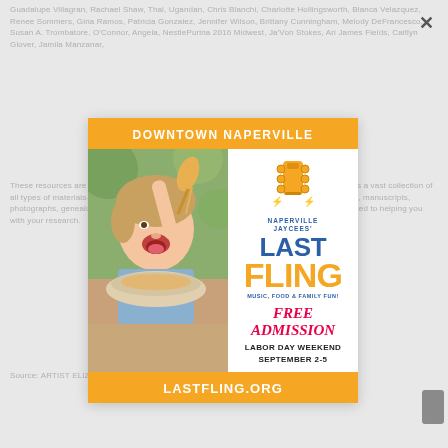[Figure (advertisement): Naperville Jaycees Last Fling festival advertisement. Orange header reads DOWNTOWN NAPERVILLE. Left side shows photo of young child eating food. Right side has guitar icon logo, NAPERVILLE JAYCEES LAST FLING, MUSIC FOOD & FAMILY FUN, FREE ADMISSION, LABOR DAY WEEKEND SEPTEMBER 2-5. Orange footer reads LASTFLING.ORG.]